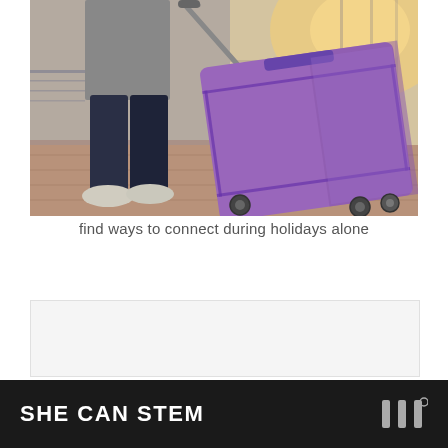[Figure (photo): Person pulling a purple/violet hard-shell rolling suitcase through what appears to be an airport or transit corridor. Only the lower body of the person is visible — dark jeans and white sneakers. The suitcase is tilted at an angle with its handle extended. Bright sunlight comes from behind through glass windows. The floor is tiled reddish-brown.]
find ways to connect during holidays alone
[Figure (other): Light gray rectangular advertisement placeholder box]
SHE CAN STEM